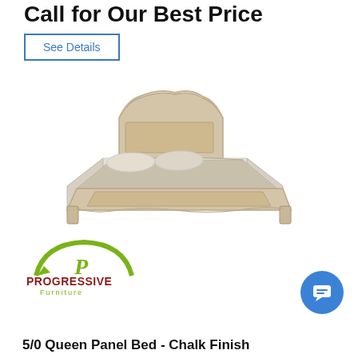Call for Our Best Price
See Details
[Figure (photo): Queen panel bed with chalk finish, shown at angle with patterned bedding, light wood with decorative headboard and footboard]
[Figure (logo): Progressive Furniture logo — green arch with stylized P, red PROGRESSIVE text, green Furniture text below]
5/0 Queen Panel Bed - Chalk Finish